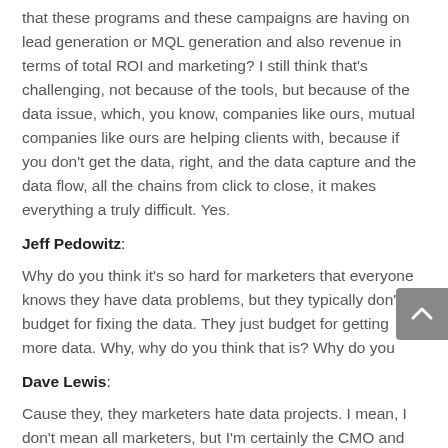that these programs and these campaigns are having on lead generation or MQL generation and also revenue in terms of total ROI and marketing? I still think that's challenging, not because of the tools, but because of the data issue, which, you know, companies like ours, mutual companies like ours are helping clients with, because if you don't get the data, right, and the data capture and the data flow, all the chains from click to close, it makes everything a truly difficult. Yes.
Jeff Pedowitz:
Why do you think it's so hard for marketers that everyone knows they have data problems, but they typically don't budget for fixing the data. They just budget for getting more data. Why, why do you think that is? Why do you
Dave Lewis:
Cause they, they marketers hate data projects. I mean, I don't mean all marketers, but I'm certainly the CMO and the heads of